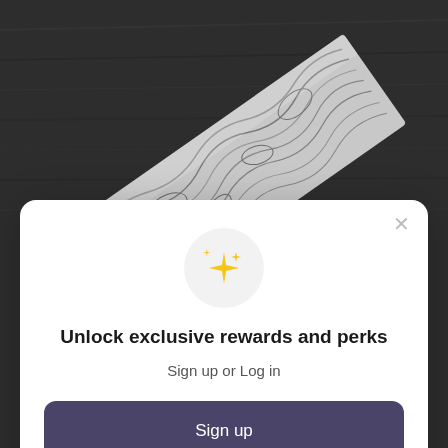[Figure (photo): Dark wood surface background with a Damascus steel knife blade visible diagonally across the upper portion of the image, showing intricate wavy silver patterns on the blade.]
Unlock exclusive rewards and perks
Sign up or Log in
Sign up
Already have an account? Sign in